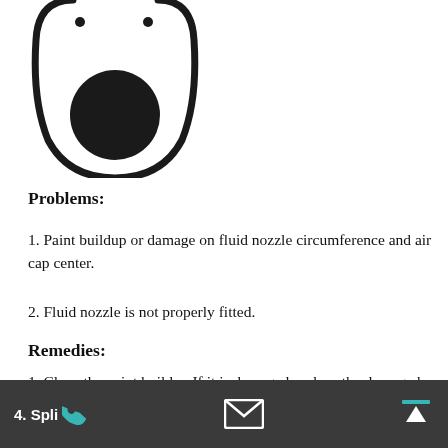[Figure (illustration): A spray nozzle cross-section diagram showing a circular nozzle shape with a large dark filled circle inside and two small dots at the top, drawn in black outline on white background.]
Problems:
1. Paint buildup or damage on fluid nozzle circumference and air cap center.
2. Fluid nozzle is not properly fitted.
Remedies:
1. Clean the paint buildup.If it is damaged,replace the damaged part.
2. Remove the nozzle and clean it.
4. Split [phone icon] [email icon] [upload icon]